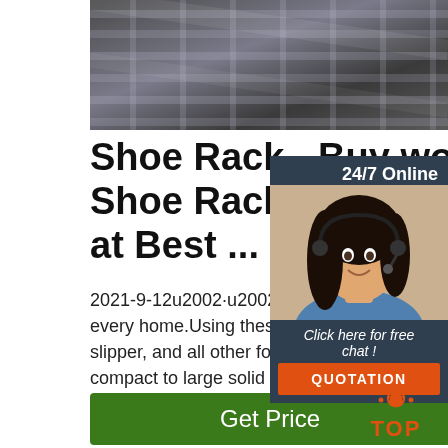[Figure (photo): Photo of metal shoe racks/shelving, dark gray metallic bars/slats viewed from below or at an angle]
Shoe Rack - Buy wood Shoe Racks & Stand O at Best ...
2021-9-12u2002·u2002Shoe Racks. Shoe Stand is a necessary unit for every home.Using these wooden shoe racks and storage you can arrange shoes, slipper, and all other footwear easily. Choose wo shoe stand online from compact to large solid wood shoe racks & stands at Wooden Street for a small and big family.
[Figure (photo): Customer service representative - woman with headset smiling, with 24/7 Online label, Click here for free chat text, and QUOTATION button overlay]
[Figure (other): TOP scroll-to-top button with orange house/arrow icon and TOP text in orange]
Get Price